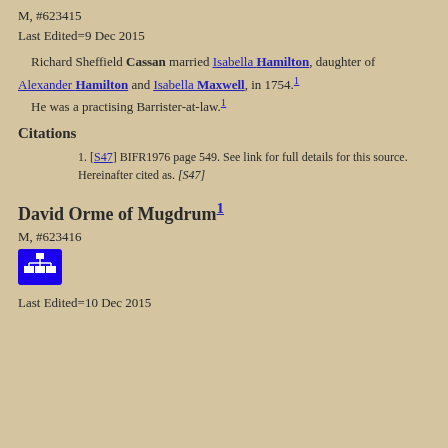M, #623415
Last Edited=9 Dec 2015
Richard Sheffield Cassan married Isabella Hamilton, daughter of Alexander Hamilton and Isabella Maxwell, in 1754.1 He was a practising Barrister-at-law.1
Citations
1. [S47] BIFR1976 page 549. See link for full details for this source. Hereinafter cited as. [S47]
David Orme of Mugdrum1
M, #623416
[Figure (other): Blue icon button with hierarchy/org-chart symbol]
Last Edited=10 Dec 2015